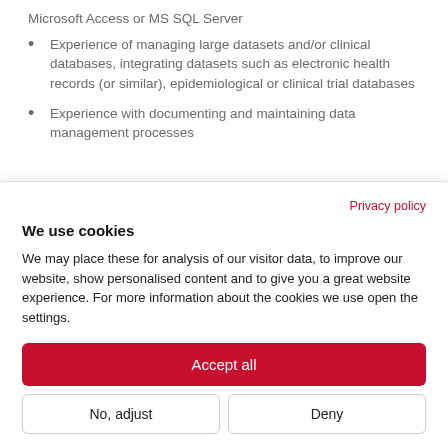Microsoft Access or MS SQL Server
Experience of managing large datasets and/or clinical databases, integrating datasets such as electronic health records (or similar), epidemiological or clinical trial databases
Experience with documenting and maintaining data management processes
Privacy policy
We use cookies
We may place these for analysis of our visitor data, to improve our website, show personalised content and to give you a great website experience. For more information about the cookies we use open the settings.
Accept all
No, adjust
Deny